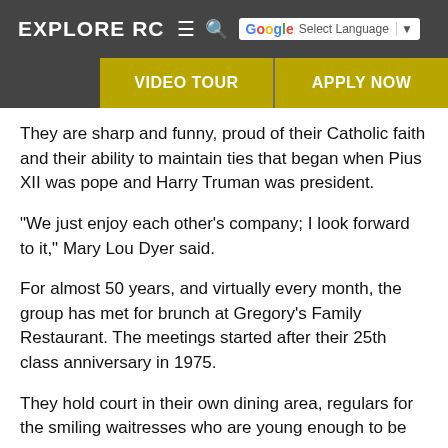EXPLORE RC  ☰  🔍  G Select Language ▼
VIDEO TOUR | APPLY NOW
They are sharp and funny, proud of their Catholic faith and their ability to maintain ties that began when Pius XII was pope and Harry Truman was president.
"We just enjoy each other's company; I look forward to it," Mary Lou Dyer said.
For almost 50 years, and virtually every month, the group has met for brunch at Gregory's Family Restaurant. The meetings started after their 25th class anniversary in 1975.
They hold court in their own dining area, regulars for the smiling waitresses who are young enough to be...